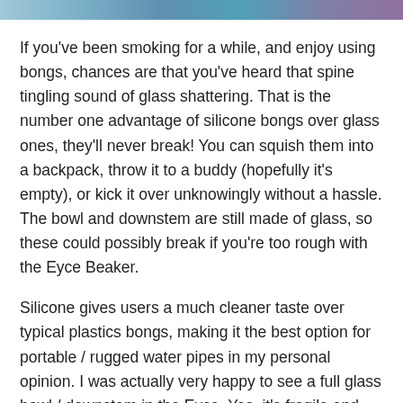[Figure (photo): Partial image strip at top of page showing colorful background]
If you've been smoking for a while, and enjoy using bongs, chances are that you've heard that spine tingling sound of glass shattering. That is the number one advantage of silicone bongs over glass ones, they'll never break! You can squish them into a backpack, throw it to a buddy (hopefully it's empty), or kick it over unknowingly without a hassle. The bowl and downstem are still made of glass, so these could possibly break if you're too rough with the Eyce Beaker.
Silicone gives users a much cleaner taste over typical plastics bongs, making it the best option for portable / rugged water pipes in my personal opinion. I was actually very happy to see a full glass bowl / downstem in the Eyce. Yes, it's fragile and kind of goes against the whole indestructible